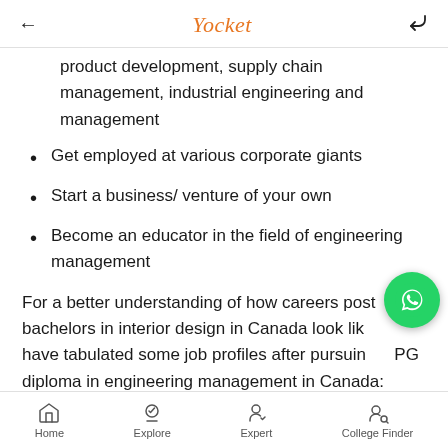Yocket
product development, supply chain management, industrial engineering and management
Get employed at various corporate giants
Start a business/ venture of your own
Become an educator in the field of engineering management
For a better understanding of how careers post bachelors in interior design in Canada look like, we have tabulated some job profiles after pursuing PG diploma in engineering management in Canada:
Home  Explore  Expert  College Finder